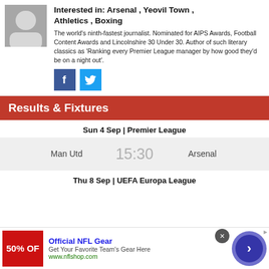Interested in: Arsenal , Yeovil Town , Athletics , Boxing
The world's ninth-fastest journalist. Nominated for AIPS Awards, Football Content Awards and Lincolnshire 30 Under 30. Author of such literary classics as 'Ranking every Premier League manager by how good they'd be on a night out'.
Results & Fixtures
Sun 4 Sep | Premier League
Man Utd  15:30  Arsenal
Thu 8 Sep | UEFA Europa League
Official NFL Gear
Get Your Favorite Team's Gear Here
www.nflshop.com